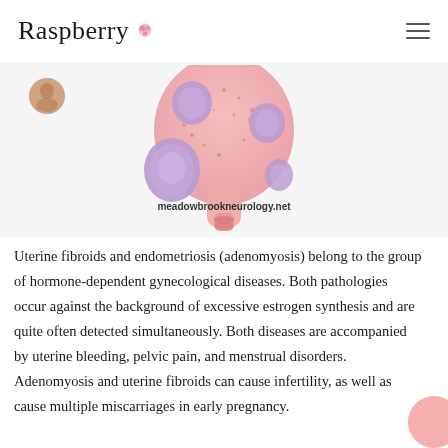Raspberry
[Figure (illustration): Medical illustration of uterus with fibroids (purple/lavender nodules) on a pink anatomical background. Watermark text reads: meadowbrookneurology.net]
Uterine fibroids and endometriosis (adenomyosis) belong to the group of hormone-dependent gynecological diseases. Both pathologies occur against the background of excessive estrogen synthesis and are quite often detected simultaneously. Both diseases are accompanied by uterine bleeding, pelvic pain, and menstrual disorders. Adenomyosis and uterine fibroids can cause infertility, as well as cause multiple miscarriages in early pregnancy.